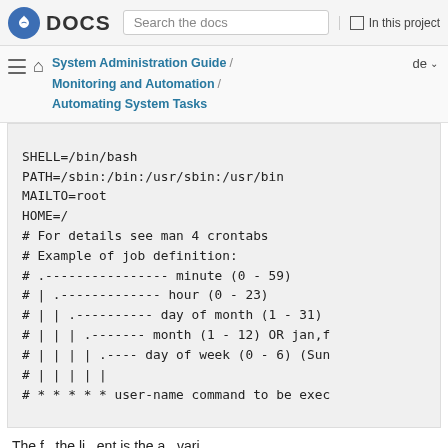DOCS | Search the docs | In this project
System Administration Guide / Monitoring and Automation / Automating System Tasks | de
SHELL=/bin/bash
PATH=/sbin:/bin:/usr/sbin:/usr/bin
MAILTO=root
HOME=/
# For details see man 4 crontabs
# Example of job definition:
# .---------------- minute (0 - 59)
# | .------------- hour (0 - 23)
# | | .---------- day of month (1 - 31)
# | | | .------- month (1 - 12) OR jan,f
# | | | | .---- day of week (0 - 6) (Sun
# | | | | |
# * * * * * user-name command to be exec
The f...the li...ent is the a...vari...